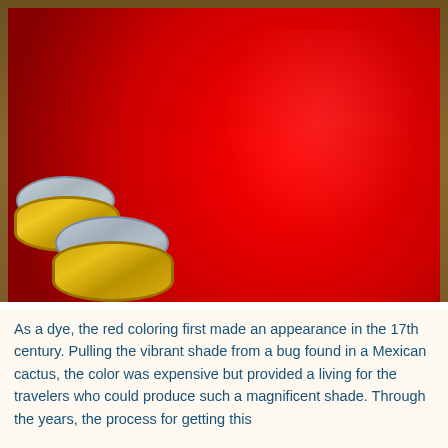[Figure (photo): Close-up photograph of a large mound of bright red powder (likely cochineal dye), with gold and silver metallic rings visible in the upper left corner, a red plastic bag/wrapping behind the powder, and two gold-rimmed tins with grey lids in the lower left foreground, displayed in what appears to be a market setting with a wicker basket.]
As a dye, the red coloring first made an appearance in the 17th century. Pulling the vibrant shade from a bug found in a Mexican cactus, the color was expensive but provided a living for the travelers who could produce such a magnificent shade. Through the years, the process for getting this